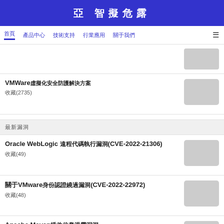亞 智擬危露
首頁  產品中心  技術支持  行業應用  關于我們
[Figure (photo): Thumbnail image placeholder (gray rectangle)]
VMWare虛擬化安全防護解決方案
收藏(2735)
最新漏洞
Oracle WebLogic 遠程代碼執行漏洞(CVE-2022-21306)
收藏(49)
關于VMware身份認證繞過漏洞(CVE-2022-22972)
收藏(48)
Apache Maven插件信息泄露漏洞
收藏(36)